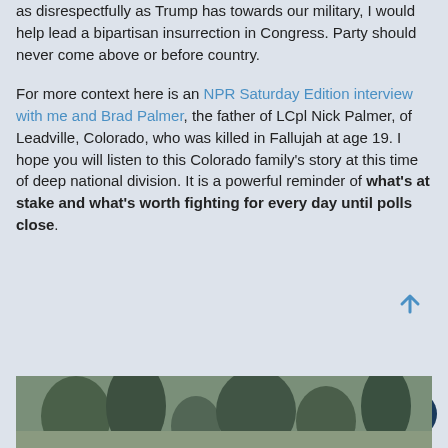as disrespectfully as Trump has towards our military, I would help lead a bipartisan insurrection in Congress. Party should never come above or before country.
For more context here is an NPR Saturday Edition interview with me and Brad Palmer, the father of LCpl Nick Palmer, of Leadville, Colorado, who was killed in Fallujah at age 19. I hope you will listen to this Colorado family's story at this time of deep national division. It is a powerful reminder of what's at stake and what's worth fighting for every day until polls close.
[Figure (photo): Partial view of an outdoor photograph showing trees and landscape, cropped at the bottom of the page.]